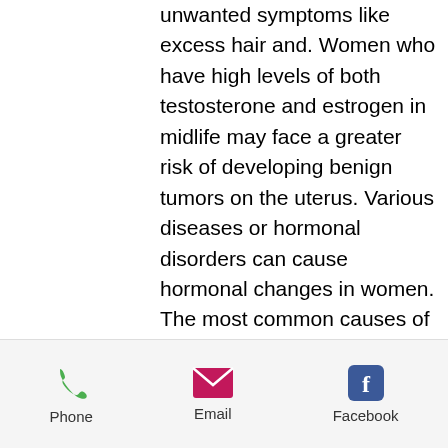unwanted symptoms like excess hair and. Women who have high levels of both testosterone and estrogen in midlife may face a greater risk of developing benign tumors on the uterus. Various diseases or hormonal disorders can cause hormonal changes in women. The most common causes of high testosterone levels in women are hirsutism,. Definitiona testosterone test measures the amount of the male hormone, testosterone, in the blood. Both men and women produce this hormone. There are various conditions that cause fluctuations in female hormone levels. Some of the leading causes of high testosterone levels in women. Signs and symptoms of high testosterone in women. The following signs and symptoms might be clues to elevated testosterone levels when compared to normal. Is high
Phone   Email   Facebook